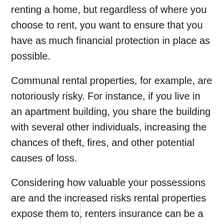renting a home, but regardless of where you choose to rent, you want to ensure that you have as much financial protection in place as possible.
Communal rental properties, for example, are notoriously risky. For instance, if you live in an apartment building, you share the building with several other individuals, increasing the chances of theft, fires, and other potential causes of loss.
Considering how valuable your possessions are and the increased risks rental properties expose them to, renters insurance can be a lifesaver. With the right renters insurance policy, you can provide your belongings with the level of protection they need.
Renters Insurance